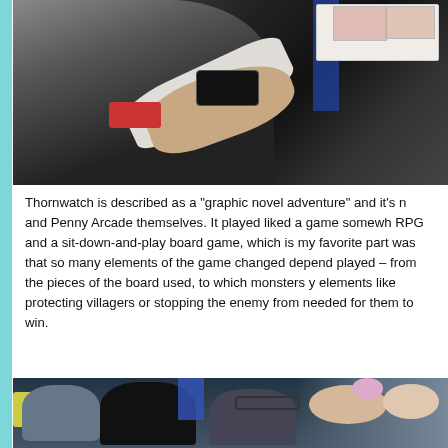[Figure (photo): Photo of a person at a gaming event, wearing a badge and holding a device, with cards visible on a table in the background. Dark background with blue accent.]
Thornwatch is described as a "graphic novel adventure" and it's n and Penny Arcade themselves. It played liked a game somewh RPG and a sit-down-and-play board game, which is my favorite part was that so many elements of the game changed depend played – from the pieces of the board used, to which monsters y elements like protecting villagers or stopping the enemy from needed for them to win.
[Figure (photo): Photo of a crowd of people at what appears to be a gaming convention or event, with colorful items visible and people looking toward something off-camera.]